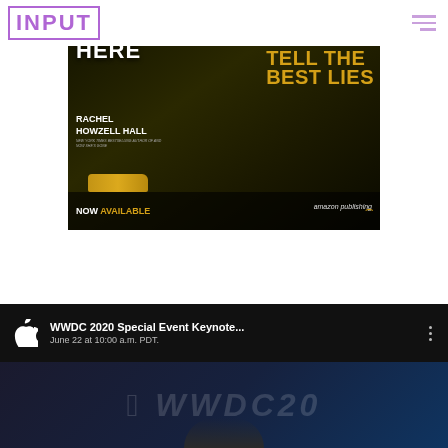INPUT
[Figure (photo): Book advertisement for 'Lie Here' by Rachel Howzell Hall. Text reads: 'A Thriller', 'LIE HERE', 'RACHEL HOWZELL HALL', 'NEW YORK TIMES BESTSELLING AUTHOR OF AND NOW SHE'S GONE', 'SOME FAMILIES', 'TELL THE BEST LIES', 'NOW AVAILABLE', 'amazon publishing'. Dark, moody background with yellow car.]
[Figure (screenshot): YouTube video thumbnail for WWDC 2020 Special Event Keynote. Shows Apple logo, title text 'WWDC 2020 Special Event Keynote...' and subtitle 'June 22 at 10:00 a.m. PDT.' with three-dot menu icon. Background shows WWDC20 logo.]